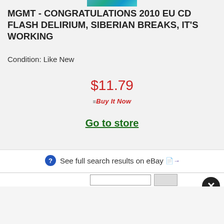[Figure (photo): Partial product image strip at top of listing card]
MGMT - CONGRATULATIONS 2010 EU CD FLASH DELIRIUM, SIBERIAN BREAKS, IT'S WORKING
Condition: Like New
$11.79
[Figure (logo): eBay Buy It Now button/logo in red italic text]
Go to store
See full search results on eBay